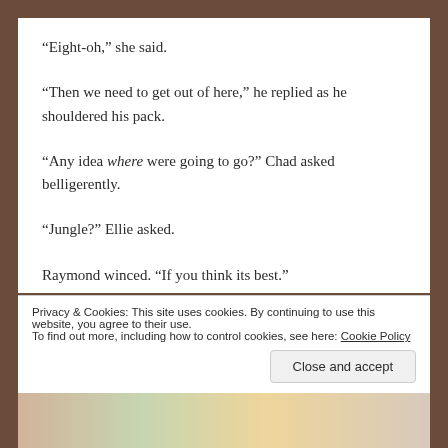“Eight-oh,” she said.
“Then we need to get out of here,” he replied as he shouldered his pack.
“Any idea where were going to go?” Chad asked belligerently.
“Jungle?” Ellie asked.
Raymond winced. “If you think its best.”
Privacy & Cookies: This site uses cookies. By continuing to use this website, you agree to their use.
To find out more, including how to control cookies, see here: Cookie Policy
Close and accept